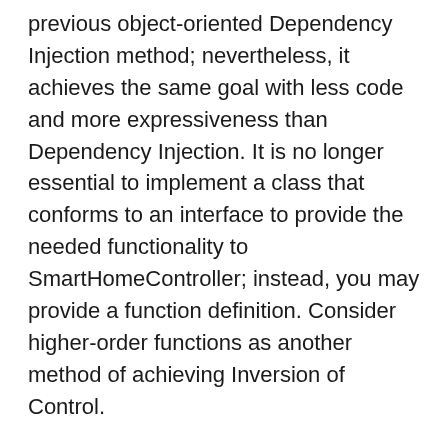previous object-oriented Dependency Injection method; nevertheless, it achieves the same goal with less code and more expressiveness than Dependency Injection. It is no longer essential to implement a class that conforms to an interface to provide the needed functionality to SmartHomeController; instead, you may provide a function definition. Consider higher-order functions as another method of achieving Inversion of Control.
Now, you can feed readily verifiable false actions into the resultant method to conduct an interaction-based unit test:
Finally, you've made the SmartHomeController